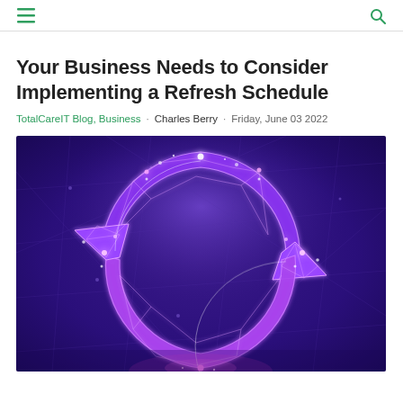Your Business Needs to Consider Implementing a Refresh Schedule
TotalCareIT Blog, Business · Charles Berry · Friday, June 03 2022
[Figure (illustration): Digital illustration of two circular refresh/sync arrows made of glowing purple and pink geometric polygonal lines on a dark blue/purple background with network connections and light particles]